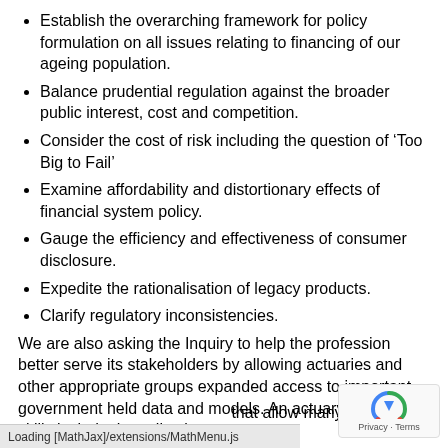Establish the overarching framework for policy formulation on all issues relating to financing of our ageing population.
Balance prudential regulation against the broader public interest, cost and competition.
Consider the cost of risk including the question of ‘Too Big to Fail’
Examine affordability and distortionary effects of financial system policy.
Gauge the efficiency and effectiveness of consumer disclosure.
Expedite the rationalisation of legacy products.
Clarify regulatory inconsistencies.
We are also asking the Inquiry to help the profession better serve its stakeholders by allowing actuaries and other appropriate groups expanded access to important government held data and models. An actuary’s technical skills include the collection an... ...that allow many
Loading [MathJax]/extensions/MathMenu.js